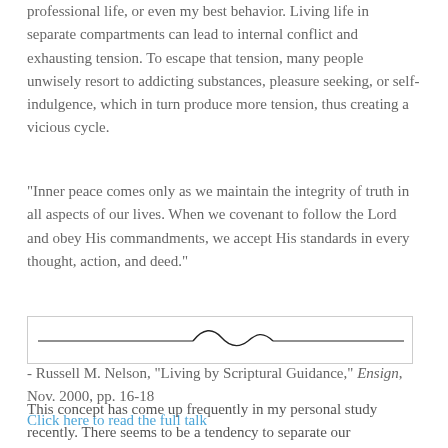professional life, or even my best behavior. Living life in separate compartments can lead to internal conflict and exhausting tension. To escape that tension, many people unwisely resort to addicting substances, pleasure seeking, or self-indulgence, which in turn produce more tension, thus creating a vicious cycle.
"Inner peace comes only as we maintain the integrity of truth in all aspects of our lives. When we covenant to follow the Lord and obey His commandments, we accept His standards in every thought, action, and deed."
- Russell M. Nelson, "Living by Scriptural Guidance," Ensign, Nov. 2000, pp. 16-18
Click here to read the full talk
[Figure (illustration): Decorative horizontal divider line with a wave/curl motif in the center]
This concept has come up frequently in my personal study recently. There seems to be a tendency to separate our